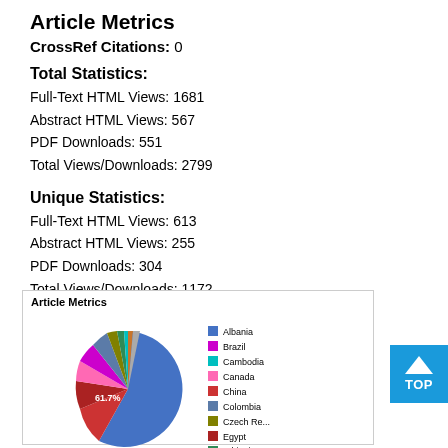Article Metrics
CrossRef Citations: 0
Total Statistics:
Full-Text HTML Views: 1681
Abstract HTML Views: 567
PDF Downloads: 551
Total Views/Downloads: 2799
Unique Statistics:
Full-Text HTML Views: 613
Abstract HTML Views: 255
PDF Downloads: 304
Total Views/Downloads: 1172
[Figure (pie-chart): Article Metrics]